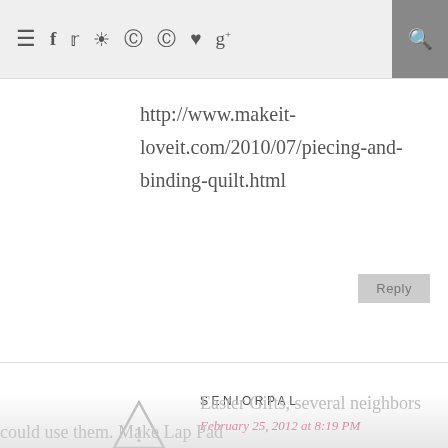Navigation bar with hamburger menu, social icons (f, twitter, instagram, pinterest, pinterest, heart, g+), and search
FYI, I found this really good tutorial on doing the binding:
http://www.makeit-loveit.com/2010/07/piecing-and-binding-quilt.html
Reply
SENIORPAL
February 25, 2012 at 8:19 PM
Cindy!! Thank you for comment. I liked those also. I have enough flannel for 2 that size now. I'll get at them for Easter Gifts, several neighbors could use them. Make Lap Pad